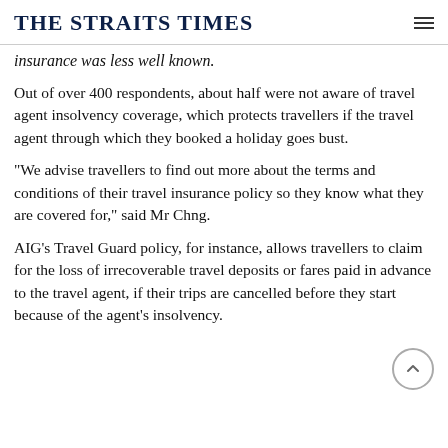THE STRAITS TIMES
insurance was less well known.
Out of over 400 respondents, about half were not aware of travel agent insolvency coverage, which protects travellers if the travel agent through which they booked a holiday goes bust.
"We advise travellers to find out more about the terms and conditions of their travel insurance policy so they know what they are covered for," said Mr Chng.
AIG's Travel Guard policy, for instance, allows travellers to claim for the loss of irrecoverable travel deposits or fares paid in advance to the travel agent, if their trips are cancelled before they start because of the agent's insolvency.